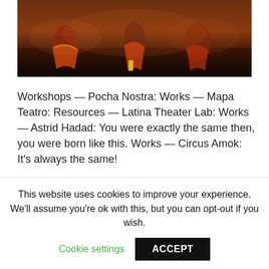[Figure (photo): A dark-toned photograph of performers on stage, with warm amber/brown lighting. Colorful costumes visible including reds, yellows, and oranges against a dark background.]
Workshops — Pocha Nostra: Works — Mapa Teatro: Resources — Latina Theater Lab: Works — Astrid Hadad: You were exactly the same then, you were born like this. Works — Circus Amok: It's always the same!
ARDA VIRAF NAMEH PDF
This website uses cookies to improve your experience. We'll assume you're ok with this, but you can opt-out if you wish.
Cookie settings
ACCEPT